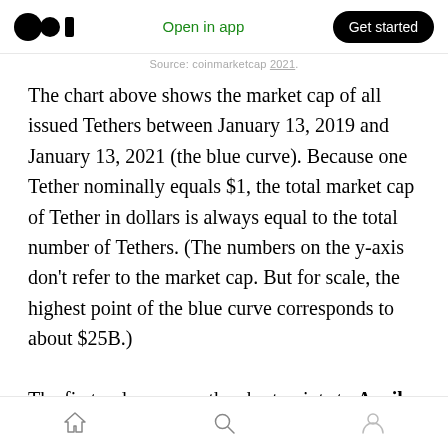Medium logo | Open in app | Get started
Source: coinmarketcap 2021.
The chart above shows the market cap of all issued Tethers between January 13, 2019 and January 13, 2021 (the blue curve). Because one Tether nominally equals $1, the total market cap of Tether in dollars is always equal to the total number of Tethers. (The numbers on the y-axis don't refer to the market cap. But for scale, the highest point of the blue curve corresponds to about $25B.)
The first red arrow on the chart points to April
Home | Search | Profile